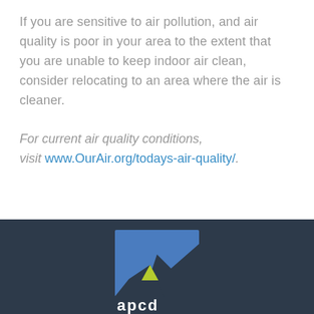If you are sensitive to air pollution, and air quality is poor in your area to the extent that you are unable to keep indoor air clean, consider relocating to an area where the air is cleaner.
For current air quality conditions, visit www.OurAir.org/todays-air-quality/.
[Figure (logo): APCD logo — blue square background with dark mountain silhouette and yellow-green hill, with 'apcd' text below in white]